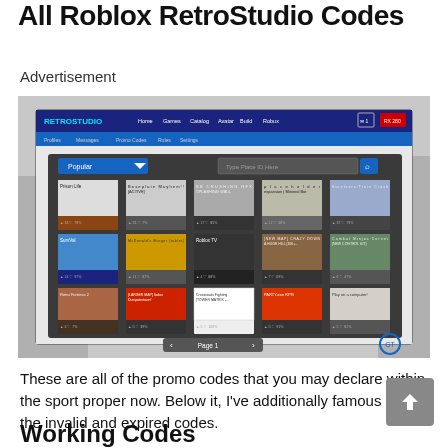All Roblox RetroStudio Codes
Advertisement
[Figure (screenshot): Screenshot of Roblox RetroStudio website showing a game browser interface with popular games listed in a grid, including Prison Life, Natural Disaster Survival, and others. The page header shows 'RETROSTUDIO' branding with navigation links.]
These are all of the promo codes that you may declare within the sport proper now. Below it, I've additionally famous down the invalid and expired codes.
Working Codes